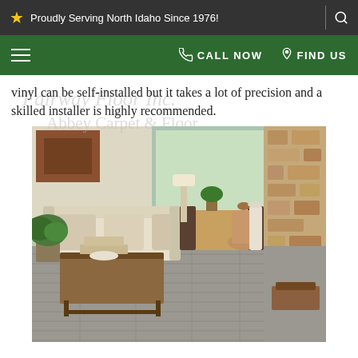Proudly Serving North Idaho Since 1976!
CALL NOW   FIND US
vinyl can be self-installed but it takes a lot of precision and a skilled installer is highly recommended.
[Figure (photo): Living room interior with grey vinyl plank flooring, a rustic wood and metal coffee table, beige sofa, plants, and a stone fireplace in the background. Brand watermarks read 'Fairway Floor Inc.' and 'Abbey Carpet & Floor'.]